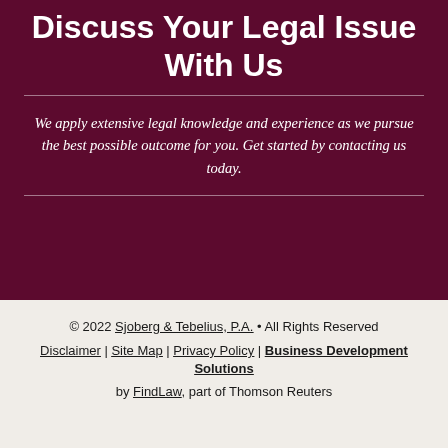Discuss Your Legal Issue With Us
We apply extensive legal knowledge and experience as we pursue the best possible outcome for you. Get started by contacting us today.
© 2022 Sjoberg & Tebelius, P.A. • All Rights Reserved Disclaimer | Site Map | Privacy Policy | Business Development Solutions by FindLaw, part of Thomson Reuters